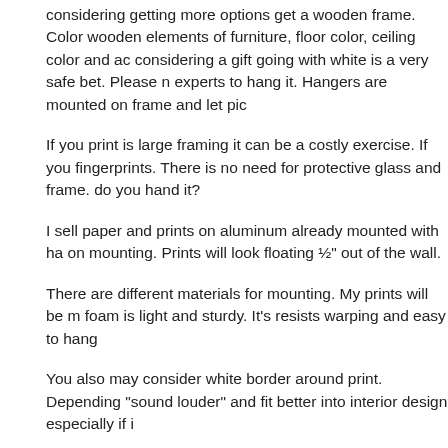considering getting more options get a wooden frame. Color wooden elements of furniture, floor color, ceiling color and ac considering a gift going with white is a very safe bet. Please experts to hang it. Hangers are mounted on frame and let pic
If you print is large framing it can be a costly exercise. If you fingerprints. There is no need for protective glass and frame. do you hand it?
I sell paper and prints on aluminum already mounted with ha on mounting. Prints will look floating ½" out of the wall.
There are different materials for mounting. My prints will be m foam is light and sturdy. It's resists warping and easy to hang
You also may consider white border around print. Depending "sound louder" and fit better into interior design especially if i
One Prints or Multiples
Let's say you want a large unframed print to cover whole wall